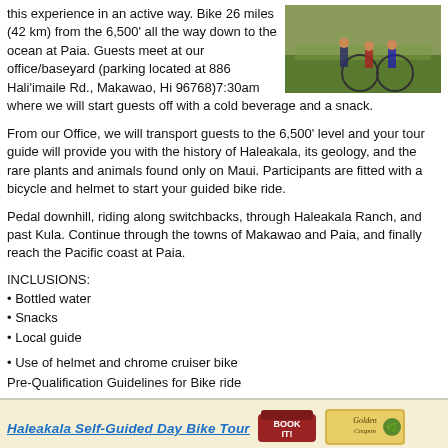this experience in an active way. Bike 26 miles (42 km) from the 6,500' all the way down to the ocean at Paia. Guests meet at our office/baseyard (parking located at 886 Hali'imaile Rd., Makawao, Hi 96768)7:30am where we will start guests off with a cold beverage and a snack.
[Figure (photo): Group photo of cyclists with bikes]
From our Office, we will transport guests to the 6,500' level and your tour guide will provide you with the history of Haleakala, its geology, and the rare plants and animals found only on Maui. Participants are fitted with a bicycle and helmet to start your guided bike ride.
Pedal downhill, riding along switchbacks, through Haleakala Ranch, and past Kula. Continue through the towns of Makawao and Paia, and finally reach the Pacific coast at Paia.
INCLUSIONS:
Bottled water
Snacks
Local guide
Use of helmet and chrome cruiser bike
Pre-Qualification Guidelines for Bike ride
Haleakala Self-Guided Day Bike Tour
[Figure (logo): Book It button logo]
[Figure (logo): Golden Coupon badge]
The Mountain Riders Haleakala Self-Guided Day Tour is the longest unguided bicycle tour on
[Figure (photo): Trees against blue sky photo]